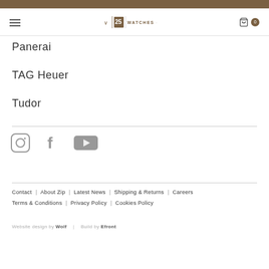Watches of Switzerland — Navigation header with hamburger menu, logo, and cart (0)
Panerai
TAG Heuer
Tudor
[Figure (other): Social media icons: Instagram, Facebook, YouTube]
Contact | About Zip | Latest News | Shipping & Returns | Careers | Terms & Conditions | Privacy Policy | Cookies Policy
Website design by Wolf | Build by Efront